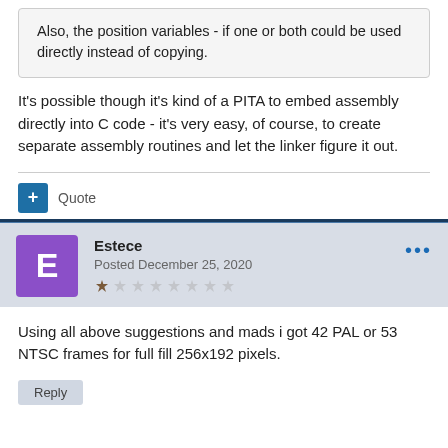Also, the position variables - if one or both could be used directly instead of copying.
It's possible though it's kind of a PITA to embed assembly directly into C code - it's very easy, of course, to create separate assembly routines and let the linker figure it out.
Quote
Estece
Posted December 25, 2020
Using all above suggestions and mads i got 42 PAL or 53 NTSC frames for full fill 256x192 pixels.